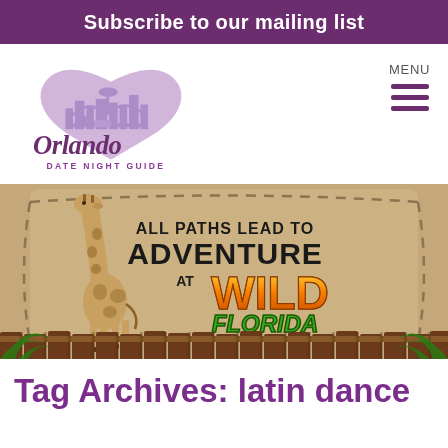Subscribe to our mailing list
[Figure (logo): Orlando Date Night Guide logo with purple heart containing cityscape illustration and cursive 'Orlando' text with 'DATE NIGHT GUIDE' subtitle]
[Figure (illustration): Wild Florida advertisement banner: tan/parchment background with giraffe on left, dashed rope border, text 'ALL PATHS LEAD TO ADVENTURE AT WILD FLORIDA', wooden fence at bottom with palm fronds]
Tag Archives: latin dance